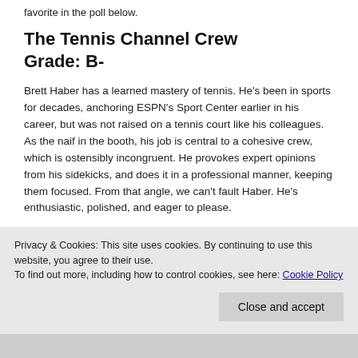favorite in the poll below.
The Tennis Channel Crew Grade: B-
Brett Haber has a learned mastery of tennis. He's been in sports for decades, anchoring ESPN's Sport Center earlier in his career, but was not raised on a tennis court like his colleagues. As the naif in the booth, his job is central to a cohesive crew, which is ostensibly incongruent. He provokes expert opinions from his sidekicks, and does it in a professional manner, keeping them focused. From that angle, we can't fault Haber. He's enthusiastic, polished, and eager to please.
Privacy & Cookies: This site uses cookies. By continuing to use this website, you agree to their use.
To find out more, including how to control cookies, see here: Cookie Policy
Close and accept